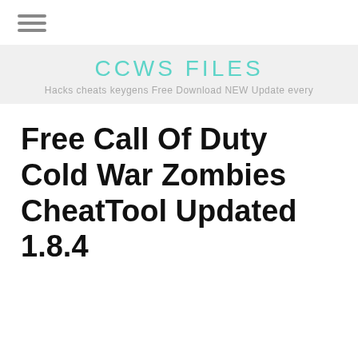[Figure (other): Hamburger menu icon (three horizontal lines)]
CCWS FILES
Hacks cheats keygens Free Download NEW Update every
Free Call Of Duty Cold War Zombies CheatTool Updated 1.8.4